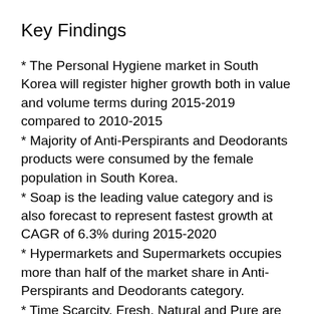Key Findings
* The Personal Hygiene market in South Korea will register higher growth both in value and volume terms during 2015-2019 compared to 2010-2015
* Majority of Anti-Perspirants and Deodorants products were consumed by the female population in South Korea.
* Soap is the leading value category and is also forecast to represent fastest growth at CAGR of 6.3% during 2015-2020
* Hypermarkets and Supermarkets occupies more than half of the market share in Anti-Perspirants and Deodorants category.
* Time Scarcity, Fresh, Natural and Pure are the